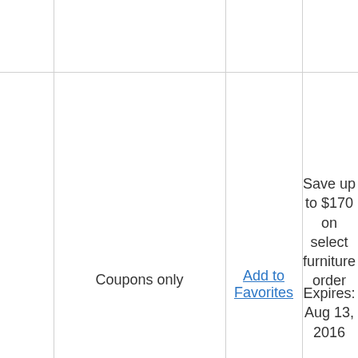|  |  |  |  |
| Coupons only | Add to Favorites | Save up to $170 on select furniture order | Expires: Aug 13, 2016 |